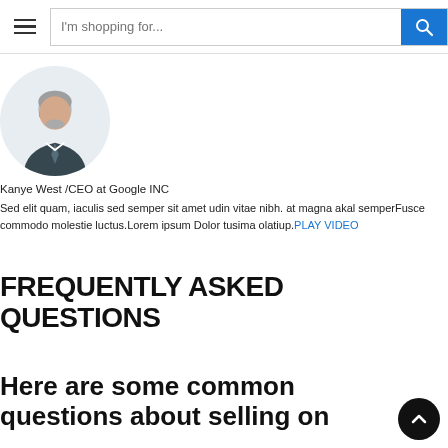I'm shopping for...
[Figure (photo): Circular portrait photo of a middle-aged man with glasses and grey beard wearing a suit]
Kanye West /CEO at Google INC
Sed elit quam, iaculis sed semper sit amet udin vitae nibh. at magna akal semperFusce commodo molestie luctus.Lorem ipsum Dolor tusima olatiup.PLAY VIDEO
FREQUENTLY ASKED QUESTIONS
Here are some common questions about selling on